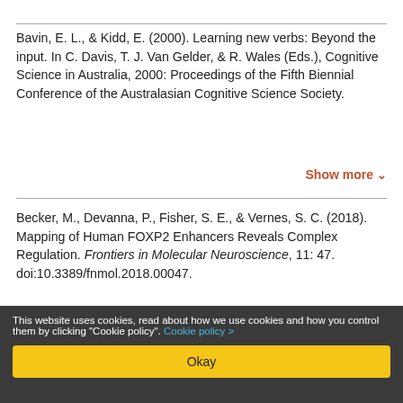Bavin, E. L., & Kidd, E. (2000). Learning new verbs: Beyond the input. In C. Davis, T. J. Van Gelder, & R. Wales (Eds.), Cognitive Science in Australia, 2000: Proceedings of the Fifth Biennial Conference of the Australasian Cognitive Science Society.
Show more
Becker, M., Devanna, P., Fisher, S. E., & Vernes, S. C. (2018). Mapping of Human FOXP2 Enhancers Reveals Complex Regulation. Frontiers in Molecular Neuroscience, 11: 47. doi:10.3389/fnmol.2018.00047.
DOI
Full Text
Show more
This website uses cookies, read about how we use cookies and how you control them by clicking "Cookie policy". Cookie policy >
Okay